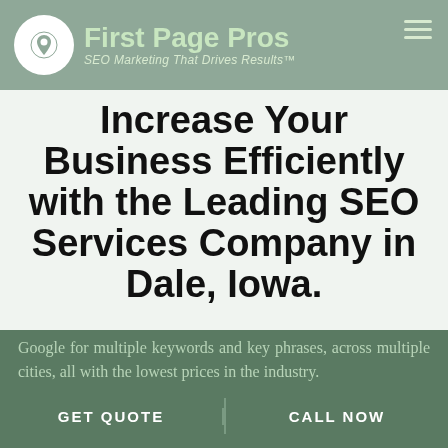First Page Pros — SEO Marketing That Drives Results™
Increase Your Business Efficiently with the Leading SEO Services Company in Dale, Iowa.
The difficulty small, medium and large businesses are finding with Local Search is it's too contracted. We service consumers and businesses across multiple cities, counties, and even states. We'll get your company's website listed on the first page of Google for multiple keywords and key phrases, across multiple cities, all with the lowest prices in the industry.
GET QUOTE   CALL NOW